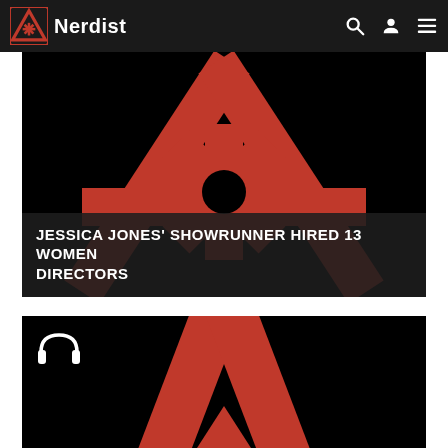Nerdist
[Figure (logo): Nerdist website article card showing large red stylized A/asterisk logo on black background]
JESSICA JONES' SHOWRUNNER HIRED 13 WOMEN DIRECTORS
[Figure (logo): Nerdist website article card showing large red stylized A logo on black background with headphones icon overlay]